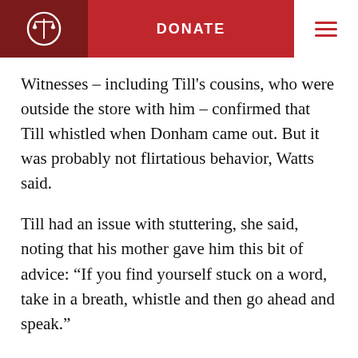DONATE
Witnesses – including Till's cousins, who were outside the store with him – confirmed that Till whistled when Donham came out. But it was probably not flirtatious behavior, Watts said.
Till had an issue with stuttering, she said, noting that his mother gave him this bit of advice: “If you find yourself stuck on a word, take in a breath, whistle and then go ahead and speak.”
In fact, one day, Till’s mother realized that his stutter would disappear when he spoke from